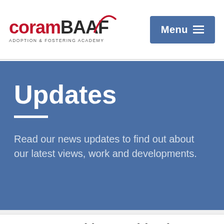[Figure (logo): CoramBAAF Adoption & Fostering Academy logo with red 'coram' text and dark 'BAAF' with a red arc/oval graphic element]
Menu
Updates
Read our news updates to find out about our latest views, work and developments.
We use cookies on this site to